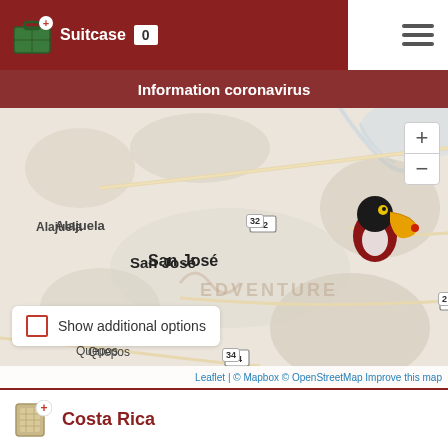Suitcase 0
Information coronavirus
[Figure (map): Interactive map of Costa Rica centered on San José area, showing cities Alajuela, San José, Siquirres, Sitio Hilda, Quepos, road numbers 2, 10, 32, 34, 242, with a toucan bird marker, a flag/tooltip, and airplane icons indicating travel route. Leaflet/Mapbox/OpenStreetMap attribution.]
Show additional options
Leaflet | © Mapbox © OpenStreetMap Improve this map
Costa Rica